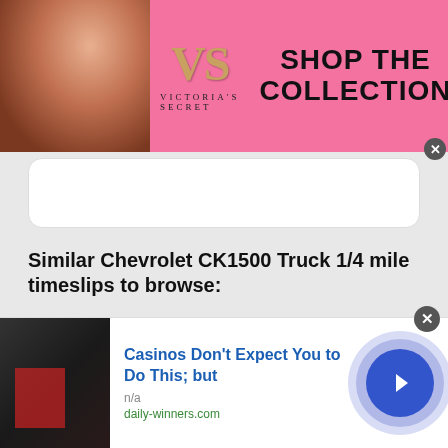[Figure (photo): Victoria's Secret banner advertisement with model, VS logo, 'SHOP THE COLLECTION' text and 'SHOP NOW' button on pink background]
Similar Chevrolet CK1500 Truck 1/4 mile timeslips to browse:
2002 Chevrolet CK1500 Truck Silverado: 9.860 @ 136.250 in the 1/4 mile
1986 Chevrolet CK1500 Truck : 10.319 @ 132.300 in the 1/4
[Figure (photo): Bottom advertisement: 'Casinos Don't Expect You to Do This; but' from daily-winners.com with thumbnail image and arrow button]